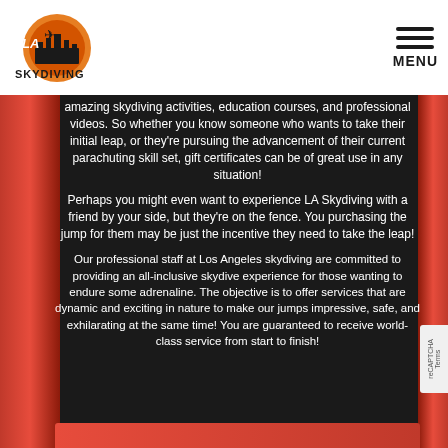LA Skydiving – Logo and MENU navigation
amazing skydiving activities, education courses, and professional videos. So whether you know someone who wants to take their initial leap, or they're pursuing the advancement of their current parachuting skill set, gift certificates can be of great use in any situation!
Perhaps you might even want to experience LA Skydiving with a friend by your side, but they're on the fence. You purchasing the jump for them may be just the incentive they need to take the leap!
Our professional staff at Los Angeles skydiving are committed to providing an all-inclusive skydive experience for those wanting to endure some adrenaline. The objective is to offer services that are dynamic and exciting in nature to make our jumps impressive, safe, and exhilarating at the same time! You are guaranteed to receive world-class service from start to finish!